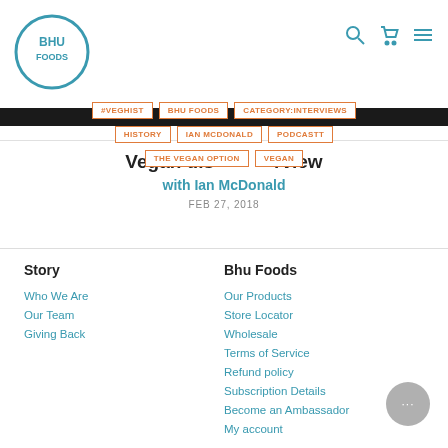[Figure (logo): BHU Foods circular logo with text BHU FOODS]
BHU Foods website header with search, cart, and menu icons
#VEGHIST | BHU FOODS | CATEGORY:INTERVIEWS | HISTORY | IAN MCDONALD | PODCASTT | THE VEGAN OPTION | VEGAN
Vegan d is rview with Ian McDonald
FEB 27, 2018
Story
Who We Are
Our Team
Giving Back
Bhu Foods
Our Products
Store Locator
Wholesale
Terms of Service
Refund policy
Subscription Details
Become an Ambassador
My account